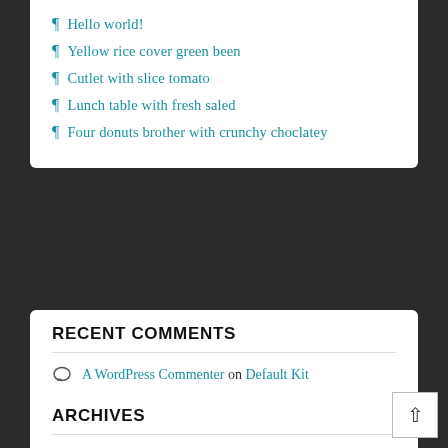¶ Hello world!
¶ Yellow rice cover green been
¶ Cutlet with slice tomato
¶ Lunch table with fresh saled
¶ Four donuts brother with crunchy choclatey
RECENT COMMENTS
A WordPress Commenter on Default Kit
ARCHIVES
→ October 2020